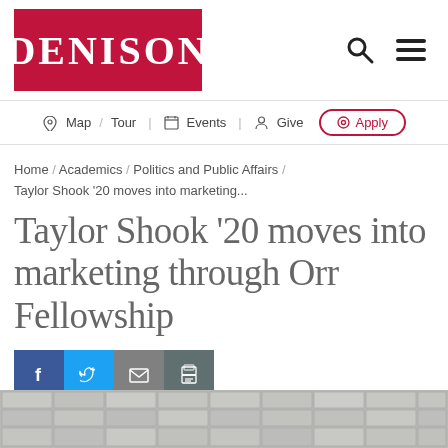[Figure (logo): Denison University logo — white serif text 'DENISON' on red/crimson background rectangle]
Map / Tour  Events  Give  Apply
Home / Academics / Politics and Public Affairs / Taylor Shook '20 moves into marketing...
Taylor Shook '20 moves into marketing through Orr Fellowship
[Figure (infographic): Social share buttons: Facebook (blue), Twitter (light blue), Email (grey), Print (dark teal)]
[Figure (photo): Partial view of a tiled ceiling or wall, grey and white tiles visible at bottom of page]